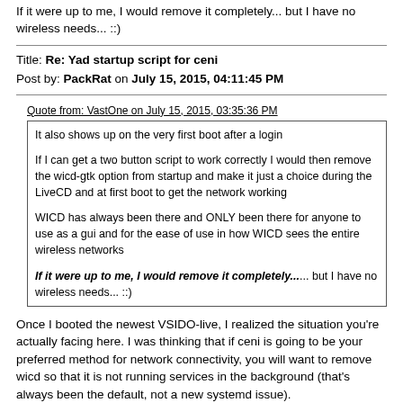If it were up to me, I would remove it completely... but I have no wireless needs... ::)
Title: Re: Yad startup script for ceni
Post by: PackRat on July 15, 2015, 04:11:45 PM
Quote from: VastOne on July 15, 2015, 03:35:36 PM

It also shows up on the very first boot after a login

If I can get a two button script to work correctly I would then remove the wicd-gtk option from startup and make it just a choice during the LiveCD and at first boot to get the network working

WICD has always been there and ONLY been there for anyone to use as a gui and for the ease of use in how WICD sees the entire wireless networks

If it were up to me, I would remove it completely... but I have no wireless needs... ::)
Once I booted the newest VSIDO-live, I realized the situation you're actually facing here. I was thinking that if ceni is going to be your preferred method for network connectivity, you will want to remove wicd so that it is not running services in the background (that's always been the default, not a new systemd issue).
I have not done a clean VSIDO install for a while (it's that f'ing stable, people!). Is there still a first-run script to install applications like geany and cups? It would be an easy fix to add wicd to that list for those that want to go that route. That would require some additional configuration (comment out everything but the loopback interface in /e/n/interfaces) for